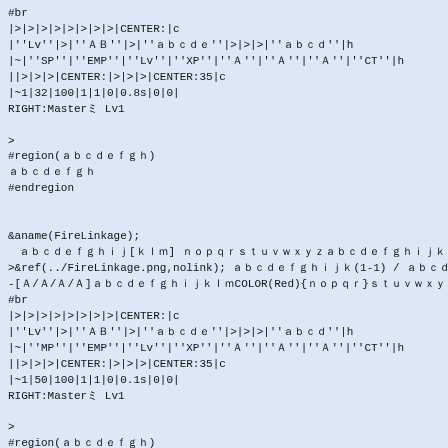#br
|>|>|>|>|>|>|>|>|CENTER:|c
|''Lv''|>|''ＡＢ''|>|''ａｂｃｄｅ''|>|>|>|''ａｂｃｄ''|h
|~|''SP''|''EMP''|''Lv''|''XP''|''Ａ''|''Ａ''|''Ａ''|''CT''|h
||>|>|>|CENTER:|>|>|>|CENTER:35|c
|~1|32|100|1|1|0|0.8s|0|0|
RIGHT:Masterミ Lv1

>
#region(ａｂｃｄｅｆｇｈ)
ａｂｃｄｅｆｇｈ
#endregion


&aname(FireLinkage);
　ａｂｃｄｅｆｇｈｉｊ[ｋｌｍ] ｎｏｐｑｒｓｔｕｖｗｘｙｚａｂｃｄｅｆｇｈｉｊｋｌｍｎｏｐｑｒｓｔ
>&ref(../FireLinkage.png,nolink); ａｂｃｄｅｆｇｈｉｊｋ(1-1) / ａｂｃｄｅｆｇｈｉｊ
-[Ａ/Ａ/Ａ/Ａ]ａｂｃｄｅｆｇｈｉｊｋｌｍCOLOR(Red){ｎｏｐｑｒ}ｓｔｕｖｗｘｙｚａ10Ａ
#br
|>|>|>|>|>|>|>|>|CENTER:|c
|''Lv''|>|''ＡＢ''|>|''ａｂｃｄｅ''|>|>|>|''ａｂｃｄ''|h
|~|''MP''|''EMP''|''Lv''|''XP''|''Ａ''|''Ａ''|''Ａ''|''CT''|h
||>|>|>|CENTER:|>|>|>|CENTER:35|c
|~1|50|100|1|1|0|0.1s|0|0|
RIGHT:Masterミ Lv1

>
#region(ａｂｃｄｅｆｇｈ)
ａｂｃｄｅｆｇｈ
|>|>|>|>|>|>|>|>|CENTER:|c
|''Lv''|>|''ＡＢ''|>|''ａｂｃｄｅ''|>|>|>|''ａｂｃｄ''|h
|~|''MP''|''EMP''|''Lv''|''XP''|''Ａ''|''Ａ''|''Ａ''|''CT''|h
||>|>|>|CENTER:|>|>|>|CENTER:35|c